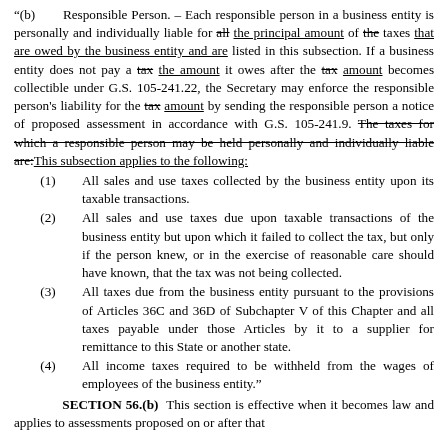"(b) Responsible Person. – Each responsible person in a business entity is personally and individually liable for all the principal amount of the taxes that are owed by the business entity and are listed in this subsection. If a business entity does not pay a tax the amount it owes after the tax amount becomes collectible under G.S. 105-241.22, the Secretary may enforce the responsible person's liability for the tax amount by sending the responsible person a notice of proposed assessment in accordance with G.S. 105-241.9. The taxes for which a responsible person may be held personally and individually liable are: This subsection applies to the following:
(1) All sales and use taxes collected by the business entity upon its taxable transactions.
(2) All sales and use taxes due upon taxable transactions of the business entity but upon which it failed to collect the tax, but only if the person knew, or in the exercise of reasonable care should have known, that the tax was not being collected.
(3) All taxes due from the business entity pursuant to the provisions of Articles 36C and 36D of Subchapter V of this Chapter and all taxes payable under those Articles by it to a supplier for remittance to this State or another state.
(4) All income taxes required to be withheld from the wages of employees of the business entity."
SECTION 56.(b) This section is effective when it becomes law and applies to assessments proposed on or after that